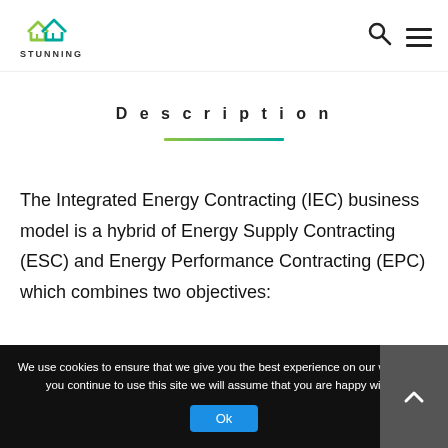[Figure (logo): STUNNING logo with stylized house icon in green/teal and yellow, text STUNNING below]
Description
The Integrated Energy Contracting (IEC) business model is a hybrid of Energy Supply Contracting (ESC) and Energy Performance Contracting (EPC) which combines two objectives:
We use cookies to ensure that we give you the best experience on our website. If you continue to use this site we will assume that you are happy with it.